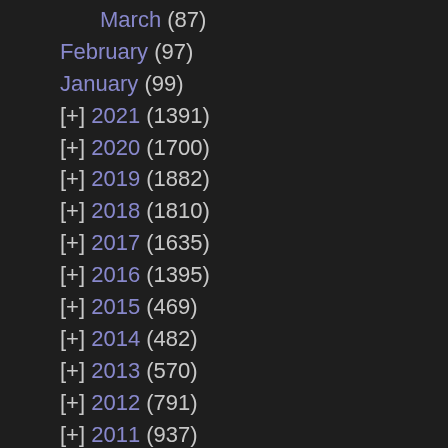March (87)
February (97)
January (99)
[+] 2021 (1391)
[+] 2020 (1700)
[+] 2019 (1882)
[+] 2018 (1810)
[+] 2017 (1635)
[+] 2016 (1395)
[+] 2015 (469)
[+] 2014 (482)
[+] 2013 (570)
[+] 2012 (791)
[+] 2011 (937)
[+] 2010 (1546)
[+] 2009 (1483)
[+] 2008 (1804)
[+] 2007 (967)